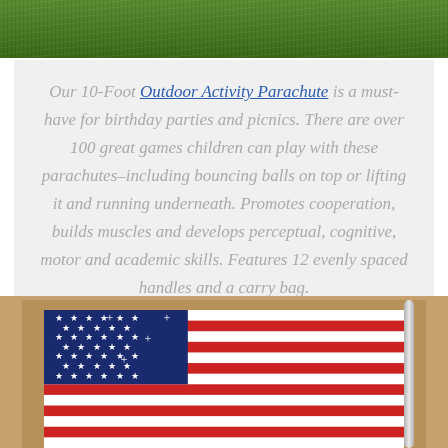[Figure (photo): Top portion of a grass/turf field, green texture, partial view at top of page]
Our 10-Foot Outdoor Activity Parachute is a must-have for birthday parties and picnics. There are over 100 great games children can play with these parachutes–including bouncing balls on top or lifting it and running underneath. Promotes cooperation, builds muscles and develops perceptual, cognitive, motor and academic skills. Features 12 evenly spaced handles and a carry bag.
[Figure (photo): American flag hanging on a rod/curtain rail, featuring red, white, and blue with stars and stripes, with sparkle/glitter effects on the white stripes and stars]